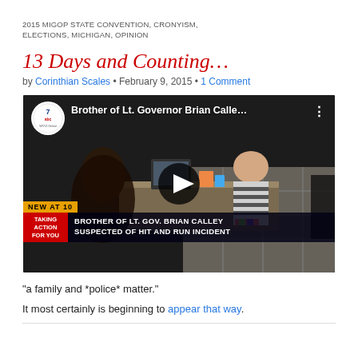2015 MIGOP STATE CONVENTION, CRONYISM, ELECTIONS, MICHIGAN, OPINION
13 Days and Counting…
by Corinthian Scales • February 9, 2015 • 1 Comment
[Figure (screenshot): Embedded video thumbnail showing security camera footage of a store interior. Two people are visible at a counter. Lower third reads: NEW AT 10 / BROTHER OF LT. GOV. BRIAN CALLEY SUSPECTED OF HIT AND RUN INCIDENT. Channel 7 ABC logo and title: Brother of Lt. Governor Brian Calle...]
"a family and *police* matter."
It most certainly is beginning to appear that way.